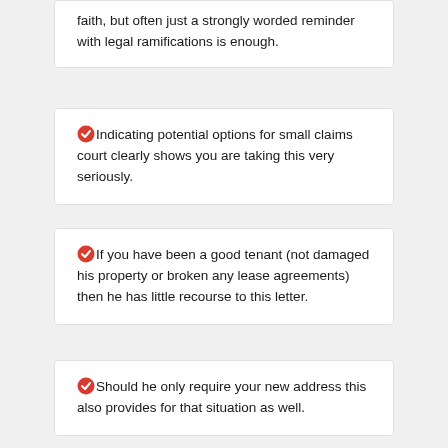faith, but often just a strongly worded reminder with legal ramifications is enough.
Indicating potential options for small claims court clearly shows you are taking this very seriously.
If you have been a good tenant (not damaged his property or broken any lease agreements) then he has little recourse to this letter.
Should he only require your new address this also provides for that situation as well.